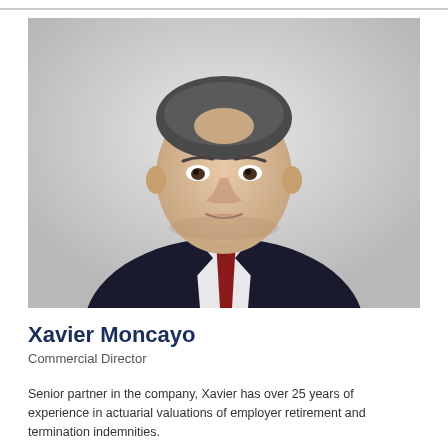[Figure (photo): Professional headshot of Xavier Moncayo, a middle-aged man in a dark suit with a dark red tie, against a light grey background.]
Xavier Moncayo
Commercial Director
Senior partner in the company, Xavier has over 25 years of experience in actuarial valuations of employer retirement and termination indemnities.